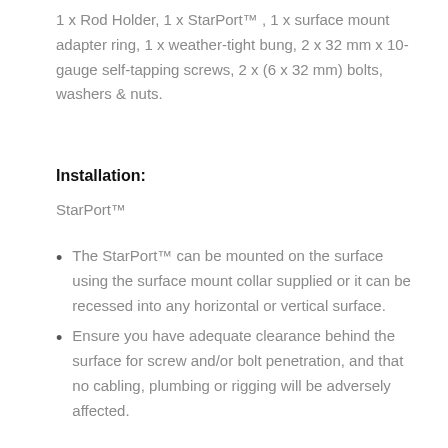1 x Rod Holder, 1 x StarPort™, 1 x surface mount adapter ring, 1 x weather-tight bung, 2 x 32 mm x 10-gauge self-tapping screws, 2 x (6 x 32 mm) bolts, washers & nuts.
Installation:
StarPort™
The StarPort™ can be mounted on the surface using the surface mount collar supplied or it can be recessed into any horizontal or vertical surface.
Ensure you have adequate clearance behind the surface for screw and/or bolt penetration, and that no cabling, plumbing or rigging will be adversely affected.